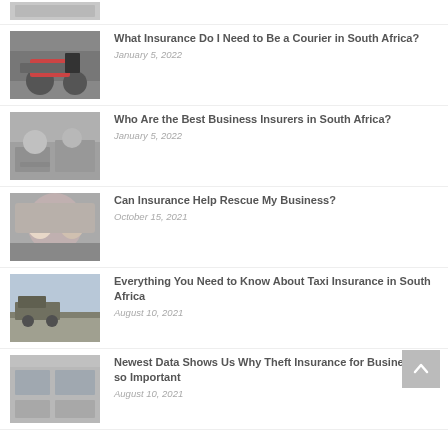[Figure (photo): Partial thumbnail of article image at top, cropped]
What Insurance Do I Need to Be a Courier in South Africa? — January 5, 2022
Who Are the Best Business Insurers in South Africa? — January 5, 2022
Can Insurance Help Rescue My Business? — October 15, 2021
Everything You Need to Know About Taxi Insurance in South Africa — August 10, 2021
Newest Data Shows Us Why Theft Insurance for Business is so Important — August 10, 2021